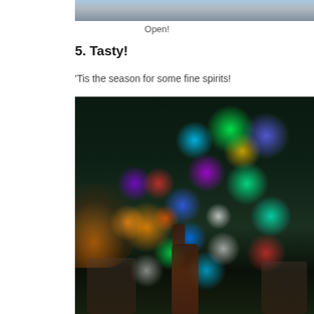[Figure (photo): Partial photo at top of page showing people in Christmas sweaters, cropped]
Open!
5. Tasty!
‘Tis the season for some fine spirits!
[Figure (photo): Photo of a decorated Christmas tree with colorful lights (blue, green, red, purple, white), a bottle of spirits and two glasses in the foreground, with a glowing fireplace visible on the left side]